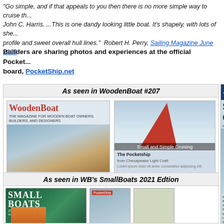"Go simple, and if that appeals to you then there is no more simple way to cruise th... John C. Harris.  ...This is one dandy looking little boat. It's shapely, with lots of she... profile and sweet overall hull lines."  Robert H. Perry, Sailing Magazine June 2009
Builders are sharing photos and experiences at the official Pocket... board, PocketShip.net
[Figure (photo): Box labeled 'As seen in WoodenBoat #207' containing WoodenBoat magazine cover and a sailboat with red sails photo with caption 'Small and Simple Cruising']
[Figure (photo): Partial view of Small Craft Advisor magazine cover showing a sailboat with red sail]
[Figure (photo): Box labeled 'As seen in WB's SmallBoats 2021 Edtion' containing Small Boats magazine cover and other images]